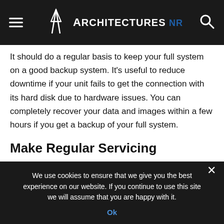ARCHITECTURES NR
It should do a regular basis to keep your full system on a good backup system. It's useful to reduce downtime if your unit fails to get the connection with its hard disk due to hardware issues. You can completely recover your data and images within a few hours if you get a backup of your full system.
Make Regular Servicing
Your ultrasound system is almost the same thing as your computer. It may get slow down by its performance over time.
We use cookies to ensure that we give you the best experience on our website. If you continue to use this site we will assume that you are happy with it.
Ok